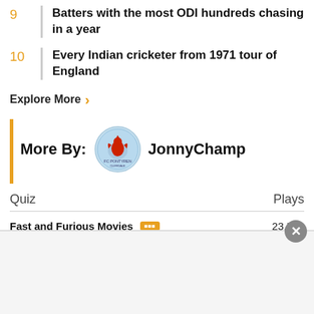9 Batters with the most ODI hundreds chasing in a year
10 Every Indian cricketer from 1971 tour of England
Explore More →
More By: JonnyChamp
| Quiz | Plays |
| --- | --- |
| Fast and Furious Movies | 23,559 |
| UEFA Champions Starting: Tottenham Hotspurs | 783 |